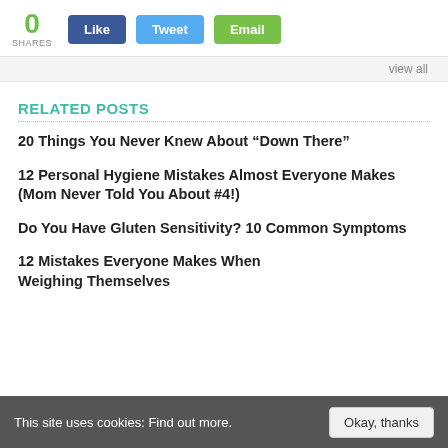[Figure (other): Social sharing bar with 0 SHARES count and Like, Tweet, Email buttons]
view all
RELATED POSTS
20 Things You Never Knew About “Down There”
12 Personal Hygiene Mistakes Almost Everyone Makes (Mom Never Told You About #4!)
Do You Have Gluten Sensitivity? 10 Common Symptoms
12 Mistakes Everyone Makes When Weighing Themselves
This site uses cookies: Find out more.